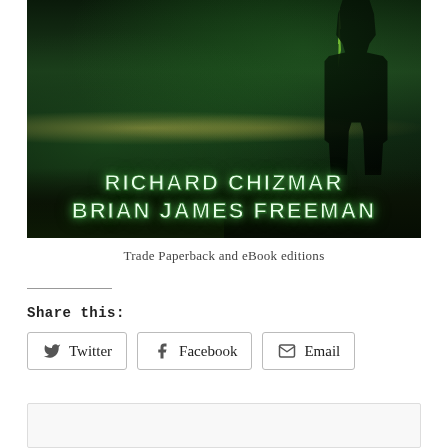[Figure (illustration): Book cover image showing a dark, stormy green-tinted night scene with a silhouetted figure standing against a backdrop of a city and lightning. Authors' names displayed: RICHARD CHIZMAR and BRIAN JAMES FREEMAN in bold green glowing text.]
Trade Paperback and eBook editions
Share this:
Twitter
Facebook
Email